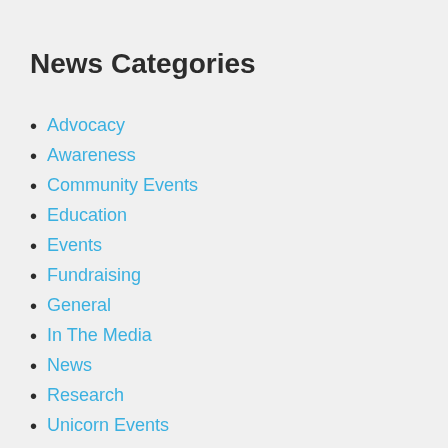News Categories
Advocacy
Awareness
Community Events
Education
Events
Fundraising
General
In The Media
News
Research
Unicorn Events